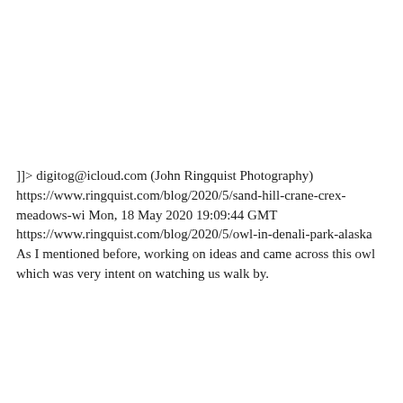]]> digitog@icloud.com (John Ringquist Photography) https://www.ringquist.com/blog/2020/5/sand-hill-crane-crex-meadows-wi Mon, 18 May 2020 19:09:44 GMT https://www.ringquist.com/blog/2020/5/owl-in-denali-park-alaska As I mentioned before, working on ideas and came across this owl which was very intent on watching us walk by.